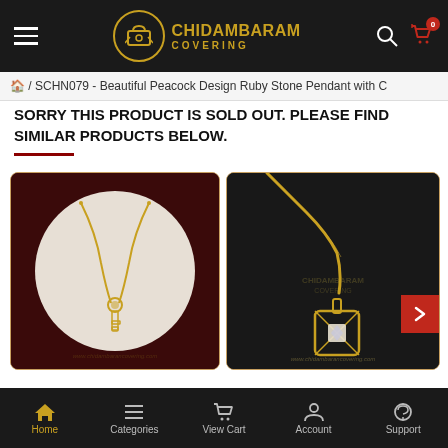[Figure (screenshot): Chidambaram Covering e-commerce website header with logo, hamburger menu, search and cart icons on dark background]
🏠 / SCHN079 - Beautiful Peacock Design Ruby Stone Pendant with C
SORRY THIS PRODUCT IS SOLD OUT. PLEASE FIND SIMILAR PRODUCTS BELOW.
[Figure (photo): Gold chain necklace with key-shaped pendant on white mannequin bust with dark red background. Watermark: www.chidambarancovering.com]
[Figure (photo): Close-up of gold chain and square-shaped pendant with crystal stone on dark leather background. Watermark: www.chidambarancovering.com]
[Figure (screenshot): Bottom navigation bar with Home, Categories, View Cart, Account, Support icons]